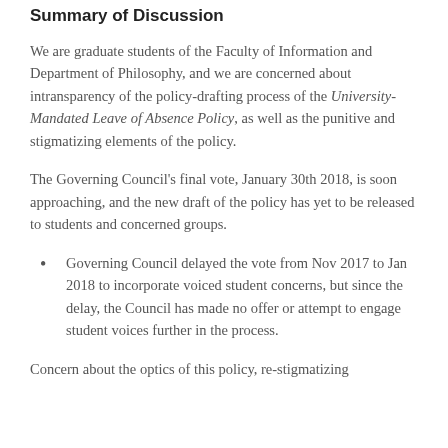Summary of Discussion
We are graduate students of the Faculty of Information and Department of Philosophy, and we are concerned about intransparency of the policy-drafting process of the University-Mandated Leave of Absence Policy, as well as the punitive and stigmatizing elements of the policy.
The Governing Council’s final vote, January 30th 2018, is soon approaching, and the new draft of the policy has yet to be released to students and concerned groups.
Governing Council delayed the vote from Nov 2017 to Jan 2018 to incorporate voiced student concerns, but since the delay, the Council has made no offer or attempt to engage student voices further in the process.
Concern about the optics of this policy, re-stigmatizing